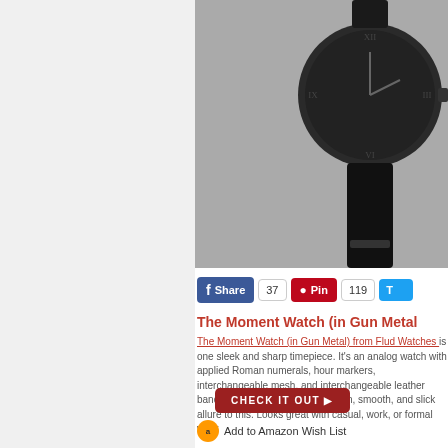[Figure (photo): Dark gun metal analog watch with Roman numerals and black leather strap shown from an angle against a light background]
Share 37 | Pin 119
The Moment Watch (in Gun Metal
The Moment Watch (in Gun Metal) from Flud Watches is one sleek and sharp timepiece. It's an analog watch with applied Roman numerals, hour markers, interchangeable mesh, and interchangeable leather bands. The gun metal gives a clean, smooth, and slick allure to this. Looks great with casual, work, or formal wear.
CHECK IT OUT ▶
Add to Amazon Wish List